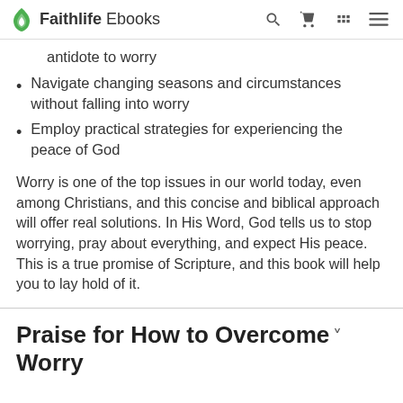Faithlife Ebooks
antidote to worry
Navigate changing seasons and circumstances without falling into worry
Employ practical strategies for experiencing the peace of God
Worry is one of the top issues in our world today, even among Christians, and this concise and biblical approach will offer real solutions. In His Word, God tells us to stop worrying, pray about everything, and expect His peace. This is a true promise of Scripture, and this book will help you to lay hold of it.
Praise for How to Overcome Worry